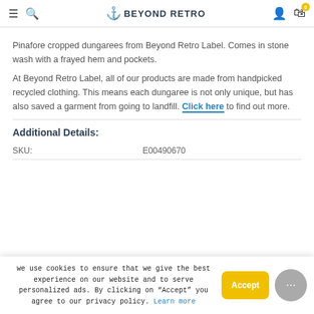BEYOND RETRO — navigation bar with hamburger, search, logo, user and cart icons
Pinafore cropped dungarees from Beyond Retro Label. Comes in stone wash with a frayed hem and pockets.
At Beyond Retro Label, all of our products are made from handpicked recycled clothing. This means each dungaree is not only unique, but has also saved a garment from going to landfill. Click here to find out more.
Additional Details:
| SKU: |  |
| --- | --- |
| SKU: | E00490670 |
we use cookies to ensure that we give the best experience on our website and to serve personalized ads. By clicking on "Accept" you agree to our privacy policy. Learn more